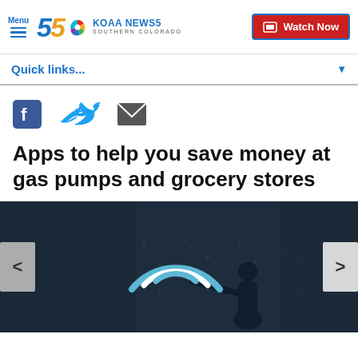Menu | KOAA NEWS5 SOUTHERN COLORADO | Watch Now
Quick links...
[Figure (infographic): Social share icons: Facebook (blue square with white F), Twitter (blue bird), Email (grey envelope)]
Apps to help you save money at gas pumps and grocery stores
[Figure (photo): Dark screenshot of a weather map screen with a person pointing at it; blue/white wifi-like arc graphic overlaid; left and right navigation arrows on sides]